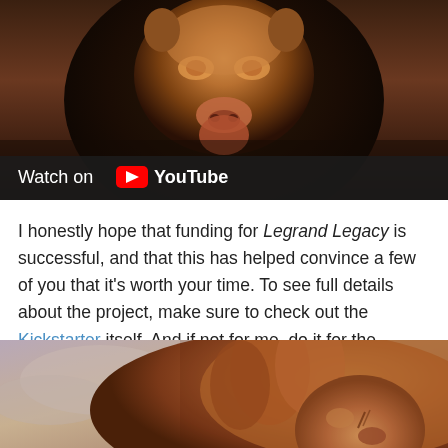[Figure (photo): Close-up photo of a lion face from a video game or CGI, shown as a YouTube video thumbnail with 'Watch on YouTube' overlay at the bottom]
I honestly hope that funding for Legrand Legacy is successful, and that this has helped convince a few of you that it's worth your time. To see full details about the project, make sure to check out the Kickstarter itself. And if not for me, do it for the awesome lion man!
[Figure (photo): CGI/game art photo of a lion-human character with a flowing mane, dramatic lighting with cloudy sky background]